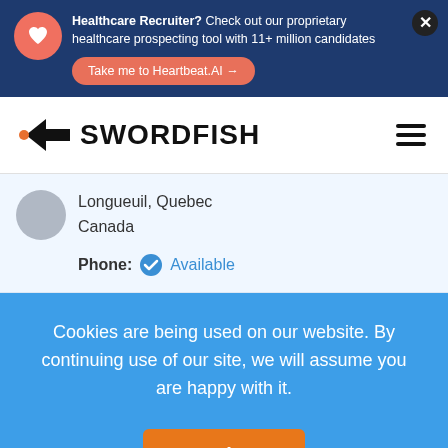[Figure (screenshot): Top banner with dark blue background, heart icon, healthcare recruiter advertisement text, 'Take me to Heartbeat.AI' button, and close button]
[Figure (logo): Swordfish logo with arrow chevron and bold SWORDFISH text, plus hamburger menu icon]
Longueuil, Quebec Canada
Phone: Available
Cookies are being used on our website. By continuing use of our site, we will assume you are happy with it.
Ok